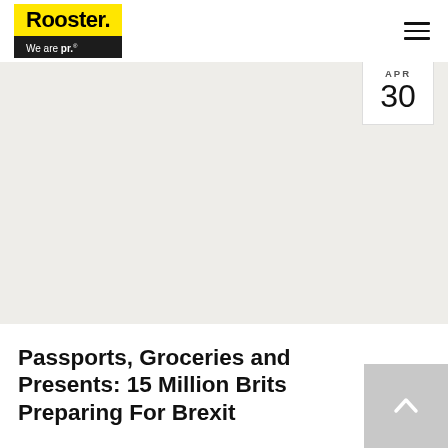Rooster. We are pr.
[Figure (logo): Rooster PR logo: yellow background with bold black 'Rooster.' text and black background with white 'We are pr.' text]
[Figure (photo): Article featured image area — light grey background placeholder]
APR 30
Passports, Groceries and Presents: 15 Million Brits Preparing For Brexit